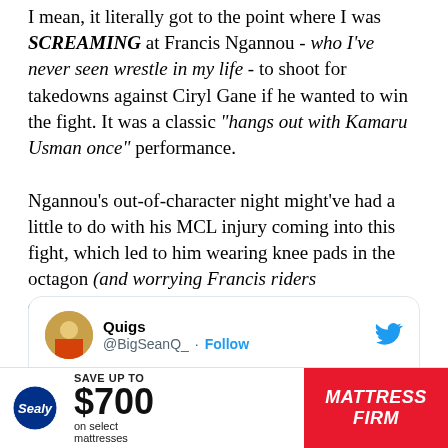I mean, it literally got to the point where I was SCREAMING at Francis Ngannou - who I've never seen wrestle in my life - to shoot for takedowns against Ciryl Gane if he wanted to win the fight. It was a classic "hangs out with Kamaru Usman once" performance.

Ngannou's out-of-character night might've had a little to do with his MCL injury coming into this fight, which led to him wearing knee pads in the octagon (and worrying Francis riders everywhere)....
[Figure (screenshot): Embedded tweet from @BigSeanQ_ (Quigs) with Twitter bird logo. Avatar shows a person. Text: 'All Ngannou bets should be voided after seeing him in knee pads']
[Figure (infographic): Advertisement banner: Save up to $700 on select mattresses - Mattress Firm, featuring Sealy logo]